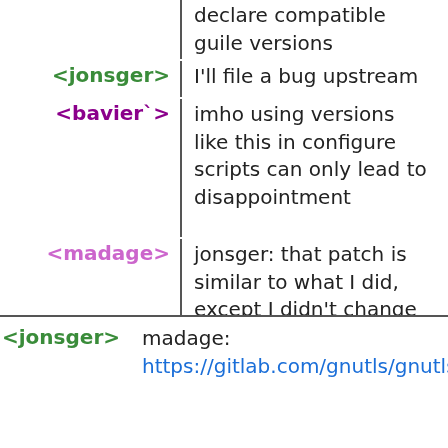declare compatible guile versions
<jonsger> I'll file a bug upstream
<bavier`> imho using versions like this in configure scripts can only lead to disappointment
<madage> jonsger: that patch is similar to what I did, except I didn't change the aclocal.m4 file. I'll try and compile then...
<civodul> roptat: sent the new tarball
<jonsger> madage: https://gitlab.com/gnutls/gnutls/issues/631